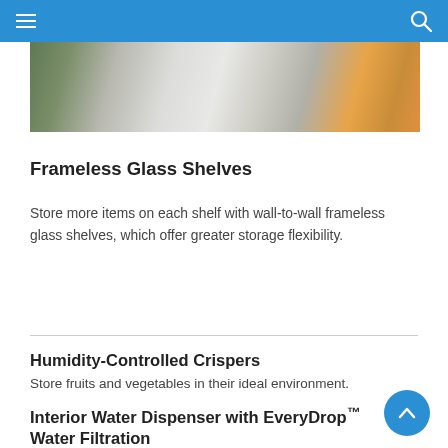Navigation header with menu and search icons
[Figure (photo): Interior view of a refrigerator showing white frameless glass shelves with food items visible in the background]
Frameless Glass Shelves
Store more items on each shelf with wall-to-wall frameless glass shelves, which offer greater storage flexibility.
Humidity-Controlled Crispers
Store fruits and vegetables in their ideal environment.
Interior Water Dispenser with EveryDrop™ Water Filtration